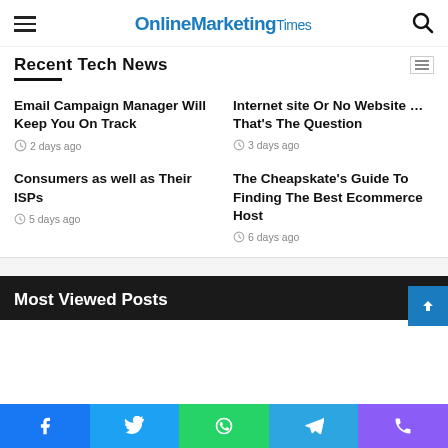OnlineMarketingTimes
Recent Tech News
Email Campaign Manager Will Keep You On Track
2 days ago
Internet site Or No Website … That's The Question
3 days ago
Consumers as well as Their ISPs
5 days ago
The Cheapskate's Guide To Finding The Best Ecommerce Host
6 days ago
Most Viewed Posts
Facebook | Twitter | WhatsApp | Telegram | Phone